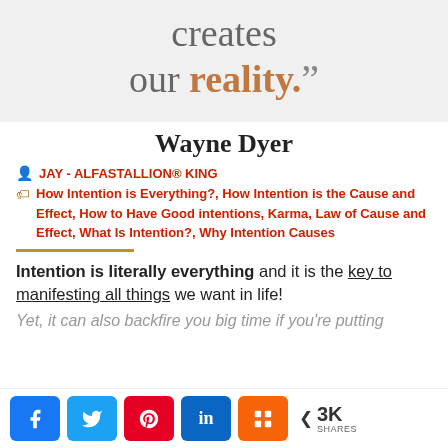[Figure (illustration): Quote banner showing 'creates our reality.””' in large serif text on gray background, with 'reality' in bold brown/tan color]
Wayne Dyer
JAY - ALFASTALLION® KING
How Intention is Everything?, How Intention is the Cause and Effect, How to Have Good intentions, Karma, Law of Cause and Effect, What Is Intention?, Why Intention Causes
Intention is literally everything and it is the key to manifesting all things we want in life!
Yet, it can also backfire you big time if you’re putting
[Figure (infographic): Social share bar with Facebook, Twitter, Pinterest, LinkedIn, Mix buttons and 3K shares count]